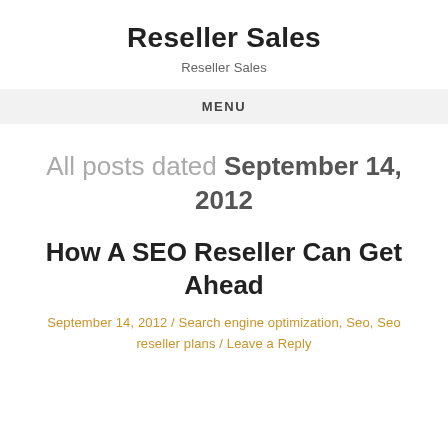Reseller Sales
Reseller Sales
MENU
All posts dated September 14, 2012
How A SEO Reseller Can Get Ahead
September 14, 2012 / Search engine optimization, Seo, Seo reseller plans / Leave a Reply